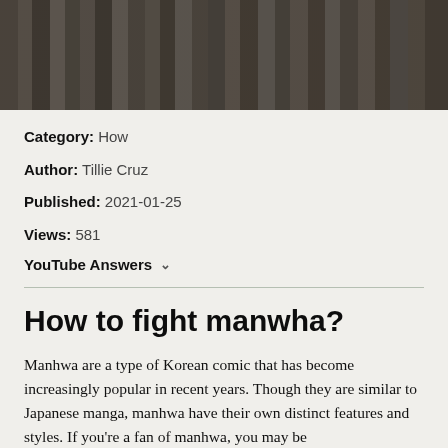[Figure (photo): Dark photo of bookshelves with books, dimly lit, used as a hero/banner image at the top of the page.]
Category: How
Author: Tillie Cruz
Published: 2021-01-25
Views: 581
YouTube Answers ∨
How to fight manwha?
Manhwa are a type of Korean comic that has become increasingly popular in recent years. Though they are similar to Japanese manga, manhwa have their own distinct features and styles. If you're a fan of manhwa, you may be